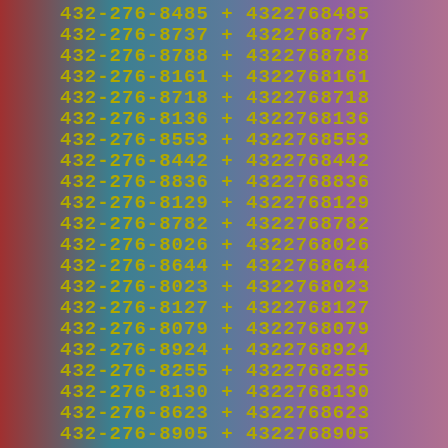432-276-8485 + 4322768485
432-276-8737 + 4322768737
432-276-8788 + 4322768788
432-276-8161 + 4322768161
432-276-8718 + 4322768718
432-276-8136 + 4322768136
432-276-8553 + 4322768553
432-276-8442 + 4322768442
432-276-8836 + 4322768836
432-276-8129 + 4322768129
432-276-8782 + 4322768782
432-276-8026 + 4322768026
432-276-8644 + 4322768644
432-276-8023 + 4322768023
432-276-8127 + 4322768127
432-276-8079 + 4322768079
432-276-8924 + 4322768924
432-276-8255 + 4322768255
432-276-8130 + 4322768130
432-276-8623 + 4322768623
432-276-8905 + 4322768905
432-276-8686 + 4322768686
432-276-0706 + ...